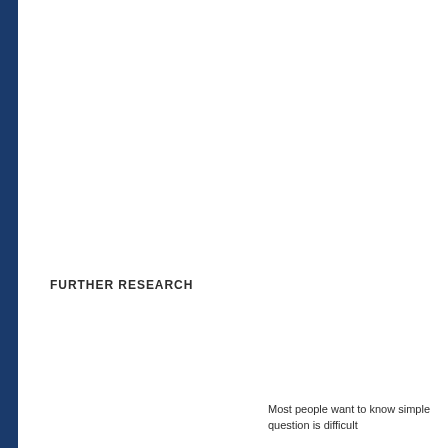FURTHER RESEARCH
Most people want to know simple question is difficult